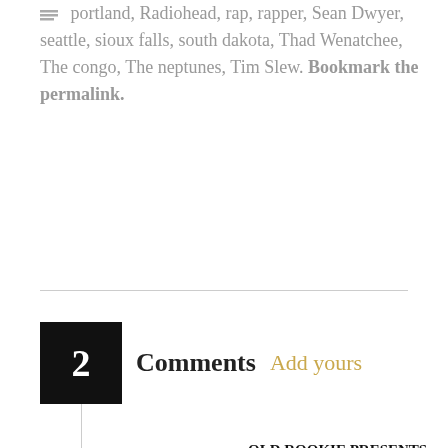portland, Radiohead, rap, rapper, Sean Dwyer, seattle, sioux falls, south dakota, Thad Wenatchee, The congo, The neptunes, Tim Slew. Bookmark the permalink.
2 Comments  Add yours
1
OLD ROOKIE PRESENTS: CAPYAC & BIDDADAT – OLD ROOKIE on May 21, 2017 at 10:44 am
Reply
[…] at Central Saloon. They will be joined by Seattle group, Biddadat and rising Seattle hip hopper, Kazadi on June 3rd for a funky party in Pioneer